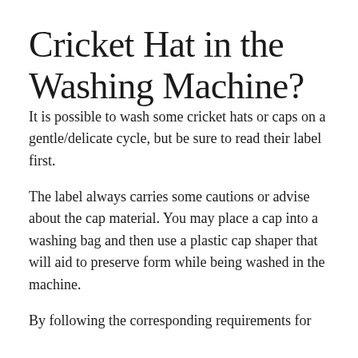Cricket Hat in the Washing Machine?
It is possible to wash some cricket hats or caps on a gentle/delicate cycle, but be sure to read their label first.
The label always carries some cautions or advise about the cap material. You may place a cap into a washing bag and then use a plastic cap shaper that will aid to preserve form while being washed in the machine.
By following the corresponding requirements for